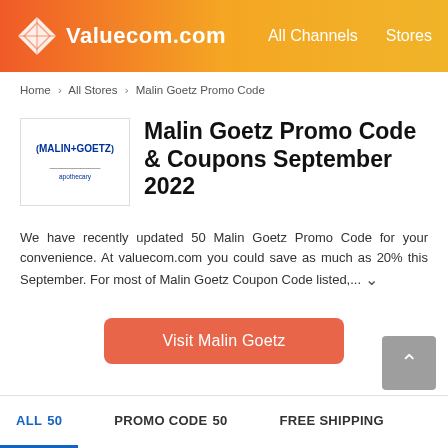Valuecom.com   All Channels   Stores
Home > All Stores > Malin Goetz Promo Code
Malin Goetz Promo Code & Coupons September 2022
We have recently updated 50 Malin Goetz Promo Code for your convenience. At valuecom.com you could save as much as 20% this September. For most of Malin Goetz Coupon Code listed,...
Visit Malin Goetz
ALL 50   PROMO CODE 50   FREE SHIPPING